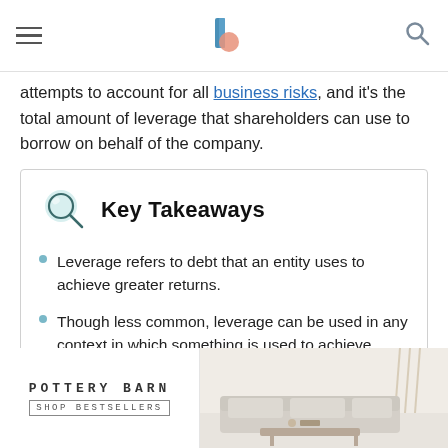[Hamburger menu] [Investopedia logo] [Search icon]
attempts to account for all business risks, and it's the total amount of leverage that shareholders can use to borrow on behalf of the company.
Key Takeaways
Leverage refers to debt that an entity uses to achieve greater returns.
Though less common, leverage can be used in any context in which something is used to achieve greater returns than would have been possible without it.
Using leverage is as opposed to using